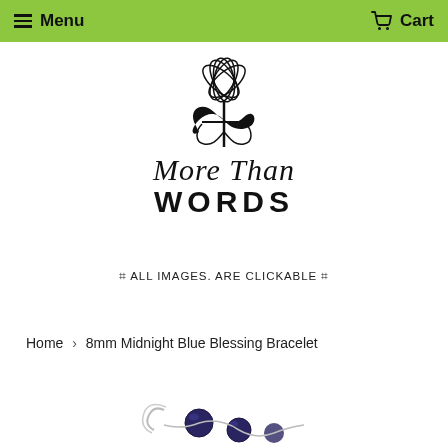☰ Menu    🛒 Cart
[Figure (logo): More Than Words logo — decorative floral/cross emblem above cursive 'More Than' and block letters 'WORDS']
⌗ ALL IMAGES. ARE CLICKABLE ⌗
Home › 8mm Midnight Blue Blessing Bracelet
[Figure (photo): Partial view of 8mm Midnight Blue Blessing Bracelet product photo — dark blue beads on silver chain visible at bottom of page]